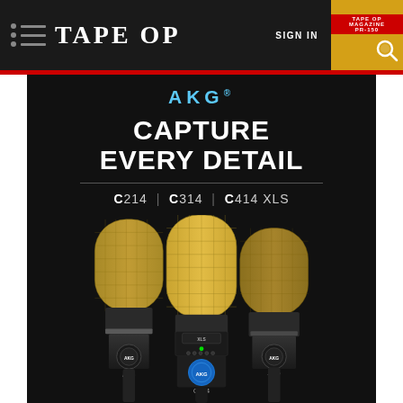Tape Op — navigation bar with SIGN IN
[Figure (advertisement): AKG microphone advertisement on dark background showing three studio condenser microphones (C214, C314, C414 XLS) with tagline CAPTURE EVERY DETAIL]
AKG
CAPTURE EVERY DETAIL
C214 | C314 | C414 XLS